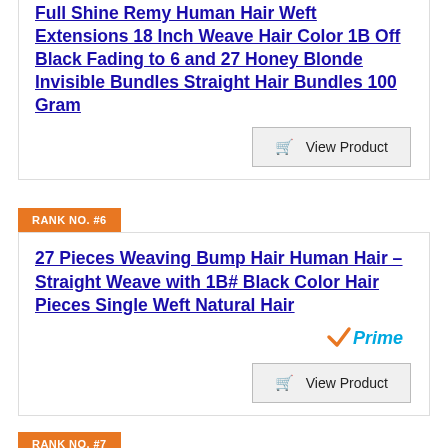Full Shine Remy Human Hair Weft Extensions 18 Inch Weave Hair Color 1B Off Black Fading to 6 and 27 Honey Blonde Invisible Bundles Straight Hair Bundles 100 Gram
View Product
RANK NO. #6
27 Pieces Weaving Bump Hair Human Hair – Straight Weave with 1B# Black Color Hair Pieces Single Weft Natural Hair
[Figure (logo): Amazon Prime logo]
View Product
RANK NO. #7